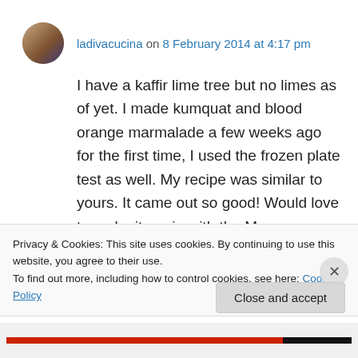ladivacucina on 8 February 2014 at 4:17 pm
I have a kaffir lime tree but no limes as of yet. I made kumquat and blood orange marmalade a few weeks ago for the first time, I used the frozen plate test as well. My recipe was similar to yours. It came out so good! Would love to make it again with the Meyer lemons. I found it hard to get all the seeds from the kumquats and
Privacy & Cookies: This site uses cookies. By continuing to use this website, you agree to their use.
To find out more, including how to control cookies, see here: Cookie Policy
Close and accept